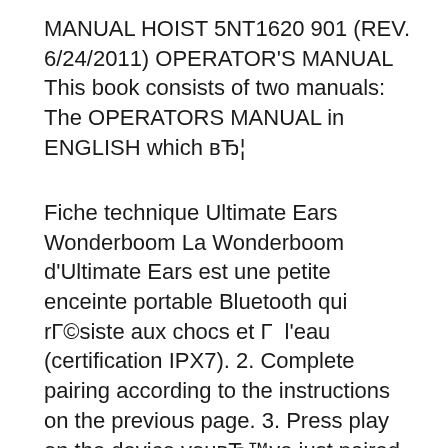MANUAL HOIST 5NT1620 901 (REV. 6/24/2011) OPERATOR'S MANUAL This book consists of two manuals: The OPERATORS MANUAL in ENGLISH which вЂ¦
Fiche technique Ultimate Ears Wonderboom La Wonderboom d'Ultimate Ears est une petite enceinte portable Bluetooth qui rГ©siste aux chocs et Г  l'eau (certification IPX7). 2. Complete pairing according to the instructions on the previous page. 3. Press play on the device youвЂ™ve just paired. When youвЂ™ve successfully paired a device, the Bluetooth LED will turn solid blue. If pairing times out (the LED will blink slowly), move the slider to